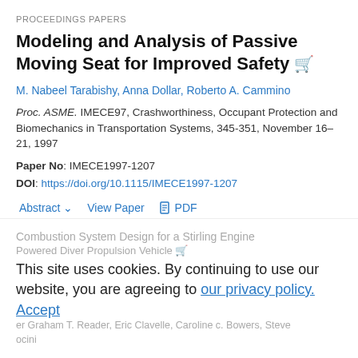PROCEEDINGS PAPERS
Modeling and Analysis of Passive Moving Seat for Improved Safety
M. Nabeel Tarabishy, Anna Dollar, Roberto A. Cammino
Proc. ASME. IMECE97, Crashworthiness, Occupant Protection and Biomechanics in Transportation Systems, 345-351, November 16–21, 1997
Paper No: IMECE1997-1207
DOI: https://doi.org/10.1115/IMECE1997-1207
Abstract  View Paper  PDF
Topics: Modeling, Safety, Wounds, Airbags, Design, Accidents, Automobiles, Seat belts, Simulation, Traffic accidents
PROCEEDINGS PAPERS
Combustion System Design for a Stirling Engine Powered Diver Propulsion Vehicle
This site uses cookies. By continuing to use our website, you are agreeing to our privacy policy. Accept